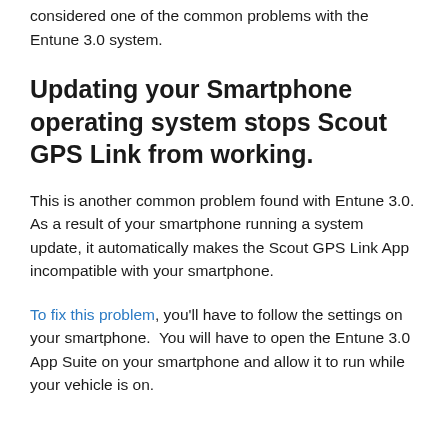considered one of the common problems with the Entune 3.0 system.
Updating your Smartphone operating system stops Scout GPS Link from working.
This is another common problem found with Entune 3.0. As a result of your smartphone running a system update, it automatically makes the Scout GPS Link App incompatible with your smartphone.
To fix this problem, you'll have to follow the settings on your smartphone.  You will have to open the Entune 3.0 App Suite on your smartphone and allow it to run while your vehicle is on.